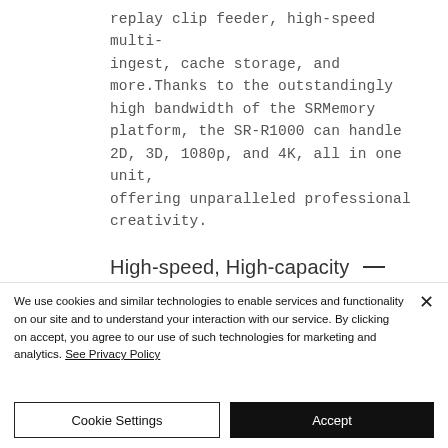replay clip feeder, high-speed multi-ingest, cache storage, and more.Thanks to the outstandingly high bandwidth of the SRMemory platform, the SR-R1000 can handle 2D, 3D, 1080p, and 4K, all in one unit, offering unparalleled professional creativity.
High-speed, High-capacity _
We use cookies and similar technologies to enable services and functionality on our site and to understand your interaction with our service. By clicking on accept, you agree to our use of such technologies for marketing and analytics. See Privacy Policy